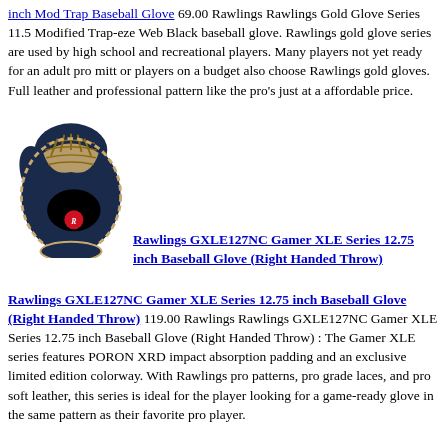inch Mod Trap Baseball Glove 69.00 Rawlings Rawlings Gold Glove Series 11.5 Modified Trap-eze Web Black baseball glove. Rawlings gold glove series are used by high school and recreational players. Many players not yet ready for an adult pro mitt or players on a budget also choose Rawlings gold gloves. Full leather and professional pattern like the pro's just at a affordable price.
[Figure (photo): Photo of a Rawlings navy blue baseball glove with tan lacing and red Rawlings logo]
Rawlings GXLE127NC Gamer XLE Series 12.75 inch Baseball Glove (Right Handed Throw) 119.00 Rawlings Rawlings GXLE127NC Gamer XLE Series 12.75 inch Baseball Glove (Right Handed Throw) : The Gamer XLE series features PORON XRD impact absorption padding and an exclusive limited edition colorway. With Rawlings pro patterns, pro grade laces, and pro soft leather, this series is ideal for the player looking for a game-ready glove in the same pattern as their favorite pro player.